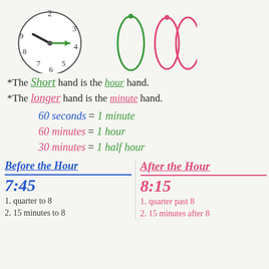[Figure (illustration): Analog clock showing approximately 9:15, with green minute hand pointing to 3 and hour hand between 9 and 10. Also shows cursive number shapes on the right side.]
* The Short hand is the hour hand.
* The longer hand is the minute hand.
60 seconds = 1 minute
60 minutes = 1 hour
30 minutes = 1 half hour
Before the Hour
7:45
1. quarter to 8
2. 15 minutes to 8
After the Hour
8:15
1. quarter past 8
2. 15 minutes after 8